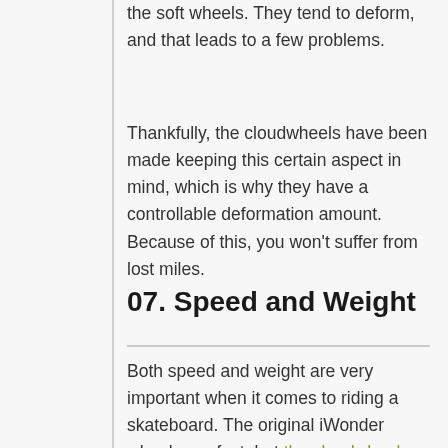the soft wheels. They tend to deform, and that leads to a few problems.
Thankfully, the cloudwheels have been made keeping this certain aspect in mind, which is why they have a controllable deformation amount. Because of this, you won't suffer from lost miles.
07. Speed and Weight
Both speed and weight are very important when it comes to riding a skateboard. The original iWonder wheels are fast, but the cloudwheels have been designed to have increased